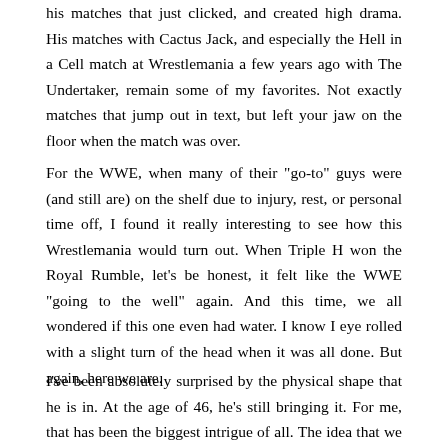his matches that just clicked, and created high drama. His matches with Cactus Jack, and especially the Hell in a Cell match at Wrestlemania a few years ago with The Undertaker, remain some of my favorites. Not exactly matches that jump out in text, but left your jaw on the floor when the match was over.
For the WWE, when many of their "go-to" guys were (and still are) on the shelf due to injury, rest, or personal time off, I found it really interesting to see how this Wrestlemania would turn out. When Triple H won the Royal Rumble, let's be honest, it felt like the WWE "going to the well" again. And this time, we all wondered if this one even had water. I know I eye rolled with a slight turn of the head when it was all done. But again, here we are.
I've been absolutely surprised by the physical shape that he is in. At the age of 46, he's still bringing it. For me, that has been the biggest intrigue of all. The idea that we haven't seen Triple H in so long, and